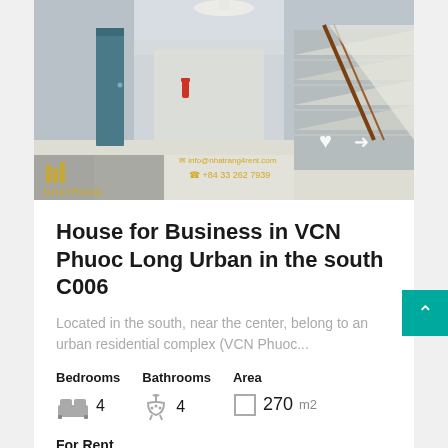[Figure (photo): Interior hallway of a house showing white walls, shiny tiled floor, a blue door on the left, and a staircase on the right. Nha Trang logo and contact info overlaid.]
House for Business in VCN Phuoc Long Urban in the south C006
Located in the south, near the center, belong to an urban residential complex (VCN Phuoc...
Bedrooms 4  Bathrooms 4  Area 270 m2
For Rent
$1220 month